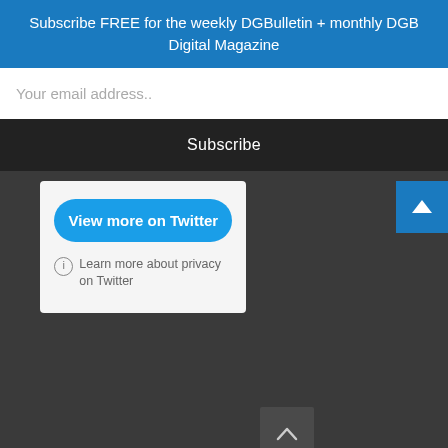Subscribe FREE for the weekly DGBulletin + monthly DGB Digital Magazine
Your email address..
Subscribe
[Figure (screenshot): Twitter widget card with 'View more on Twitter' blue button and 'Learn more about privacy on Twitter' link with info icon]
View more on Twitter
Learn more about privacy on Twitter